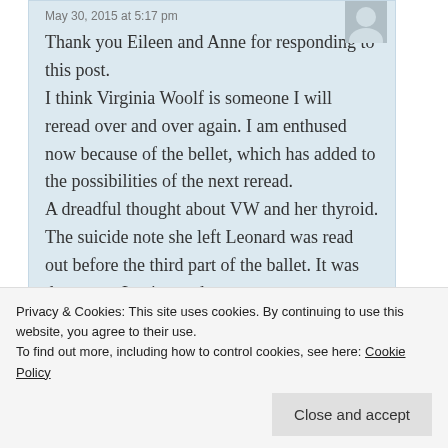May 30, 2015 at 5:17 pm
Thank you Eileen and Anne for responding to this post.
I think Virginia Woolf is someone I will reread over and over again. I am enthused now because of the bellet, which has added to the possibilities of the next reread.
A dreadful thought about VW and her thyroid.
The suicide note she left Leonard was read out before the third part of the ballet. It was desperate. Loving and
Privacy & Cookies: This site uses cookies. By continuing to use this website, you agree to their use.
To find out more, including how to control cookies, see here: Cookie Policy
Close and accept